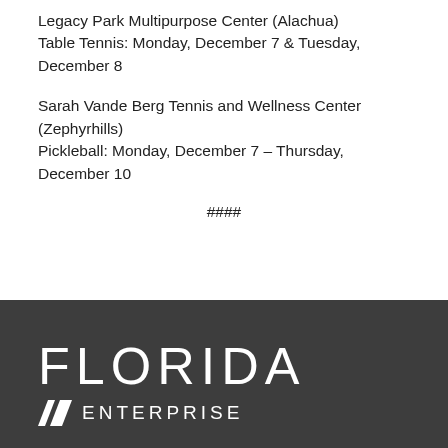Legacy Park Multipurpose Center (Alachua)
Table Tennis: Monday, December 7 & Tuesday, December 8
Sarah Vande Berg Tennis and Wellness Center (Zephyrhills)
Pickleball: Monday, December 7 – Thursday, December 10
####
[Figure (logo): Florida Enterprise logo on dark grey background — large 'FLORIDA' text in white with wide letter-spacing, below it an enterprise icon (angled parallelogram shapes) followed by 'ENTERPRISE' in white spaced capitals]